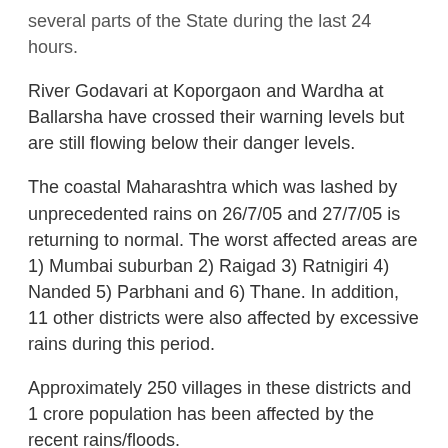several parts of the State during the last 24 hours.
River Godavari at Koporgaon and Wardha at Ballarsha have crossed their warning levels but are still flowing below their danger levels.
The coastal Maharashtra which was lashed by unprecedented rains on 26/7/05 and 27/7/05 is returning to normal. The worst affected areas are 1) Mumbai suburban 2) Raigad 3) Ratnigiri 4) Nanded 5) Parbhani and 6) Thane. In addition, 11 other districts were also affected by excessive rains during this period.
Approximately 250 villages in these districts and 1 crore population has been affected by the recent rains/floods.
Approximately 1 lakh people have been evacuated to safer places. Many of them have returned to their homes. However, nearly 60,000 people are still staying in relief camps.